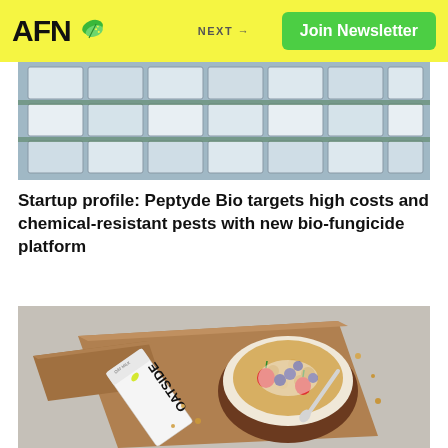AFN | NEXT → | Join Newsletter
[Figure (photo): Aerial view of large greenhouse structures with white paneled roofs arranged in rows]
Startup profile: Peptyde Bio targets high costs and chemical-resistant pests with new bio-fungicide platform
[Figure (photo): OATSIDE oat milk carton next to a wooden bowl filled with granola, strawberries, blueberries, and oat milk on a wooden board]